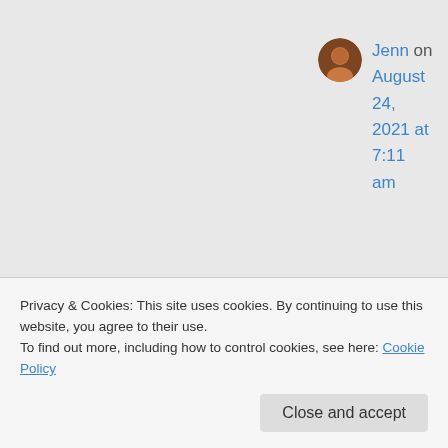Jenn on August 24, 2021 at 7:11 am
It's true..the commenting format is really impossible to understand.
Privacy & Cookies: This site uses cookies. By continuing to use this website, you agree to their use.
To find out more, including how to control cookies, see here: Cookie Policy
Close and accept